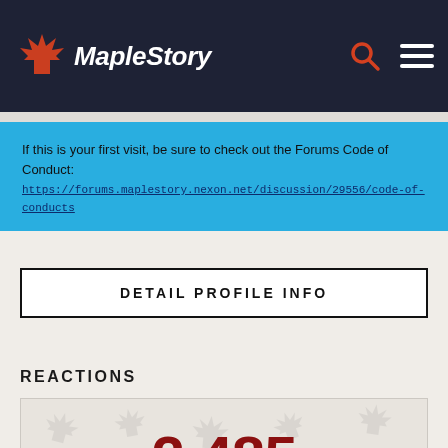MapleStory
If this is your first visit, be sure to check out the Forums Code of Conduct: https://forums.maplestory.nexon.net/discussion/29556/code-of-conducts
DETAIL PROFILE INFO
REACTIONS
2,485
Like  85
Insightful  7